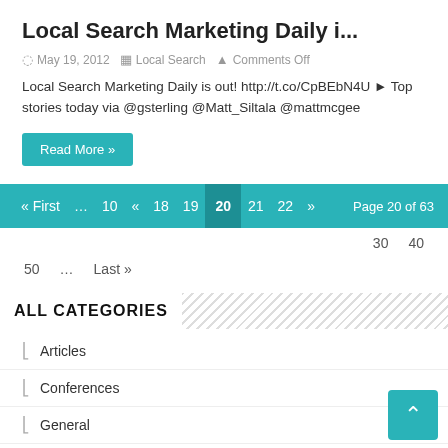Local Search Marketing Daily i...
May 19, 2012   Local Search   Comments Off
Local Search Marketing Daily is out! http://t.co/CpBEbN4U ▶ Top stories today via @gsterling @Matt_Siltala @mattmcgee
Read More »
« First  ...  10  «  18  19  20  21  22  »  Page 20 of 63  30  40  50  ...  Last »
ALL CATEGORIES
Articles
Conferences
General